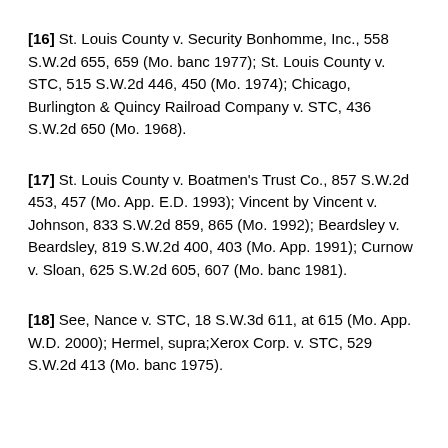[16] St. Louis County v. Security Bonhomme, Inc., 558 S.W.2d 655, 659 (Mo. banc 1977); St. Louis County v. STC, 515 S.W.2d 446, 450 (Mo. 1974); Chicago, Burlington & Quincy Railroad Company v. STC, 436 S.W.2d 650 (Mo. 1968).
[17] St. Louis County v. Boatmen's Trust Co., 857 S.W.2d 453, 457 (Mo. App. E.D. 1993); Vincent by Vincent v. Johnson, 833 S.W.2d 859, 865 (Mo. 1992); Beardsley v. Beardsley, 819 S.W.2d 400, 403 (Mo. App. 1991); Curnow v. Sloan, 625 S.W.2d 605, 607 (Mo. banc 1981).
[18] See, Nance v. STC, 18 S.W.3d 611, at 615 (Mo. App. W.D. 2000); Hermel, supra;Xerox Corp. v. STC, 529 S.W.2d 413 (Mo. banc 1975).